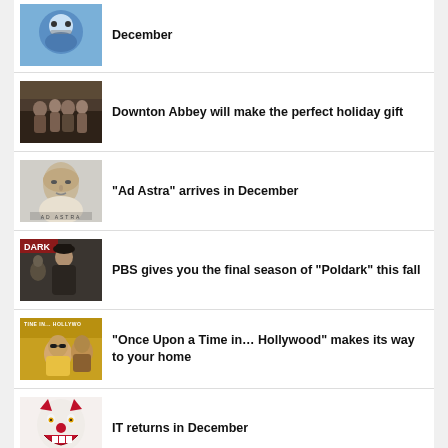December
Downton Abbey will make the perfect holiday gift
“Ad Astra” arrives in December
PBS gives you the final season of “Poldark” this fall
“Once Upon a Time in… Hollywood” makes its way to your home
IT returns in December